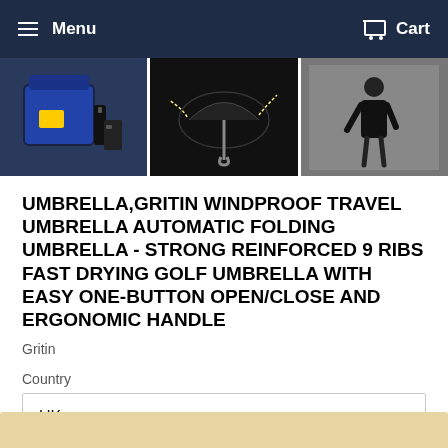Menu   Cart
[Figure (photo): Three product images: a blue bag with phone accessories, a black folding umbrella open against wind, and a man in a black coat walking away in rain]
UMBRELLA,GRITIN WINDPROOF TRAVEL UMBRELLA AUTOMATIC FOLDING UMBRELLA - STRONG REINFORCED 9 RIBS FAST DRYING GOLF UMBRELLA WITH EASY ONE-BUTTON OPEN/CLOSE AND ERGONOMIC HANDLE
Gritin
Country
UK